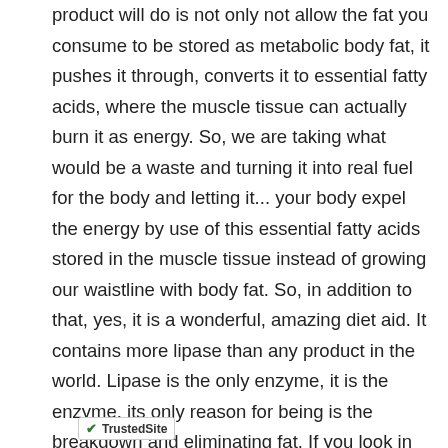product will do is not only not allow the fat you consume to be stored as metabolic body fat, it pushes it through, converts it to essential fatty acids, where the muscle tissue can actually burn it as energy. So, we are taking what would be a waste and turning it into real fuel for the body and letting it... your body expel the energy by use of this essential fatty acids stored in the muscle tissue instead of growing our waistline with body fat. So, in addition to that, yes, it is a wonderful, amazing diet aid. It contains more lipase than any product in the world. Lipase is the only enzyme, it is the enzyme, its only reason for being is the breakdown and eliminating fat. If you look in nature at things like avocado, why is an avocado, why do we call avocado as h[...] [...]'s because they have a[...] [...]as them[...] that conversion for you. Well, it turns
[Figure (other): Chat support popup overlay showing 'Chat support is Away' and 'Leave a message', with an orange circular chat icon button in the bottom right]
[Figure (logo): TrustedSite badge with green checkmark]